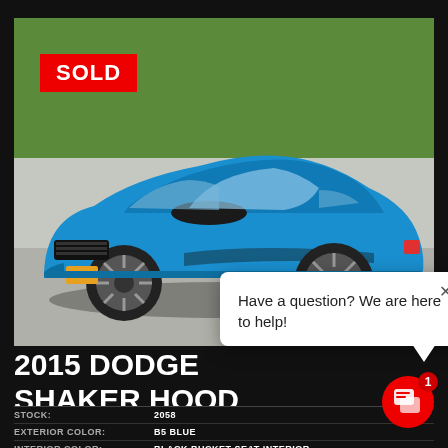[Figure (photo): Blue 2015 Dodge Challenger muscle car parked on a road with green grass in background. A red SOLD badge is overlaid in the top-left corner of the image.]
2015 DODGE SHAKER HOOD
| STOCK: | 2058 |
| EXTERIOR COLOR: | B5 BLUE |
| INTERIOR COLOR: | BLACK BUCKET SEAT INTERIOR |
Have a question? We are here to help!